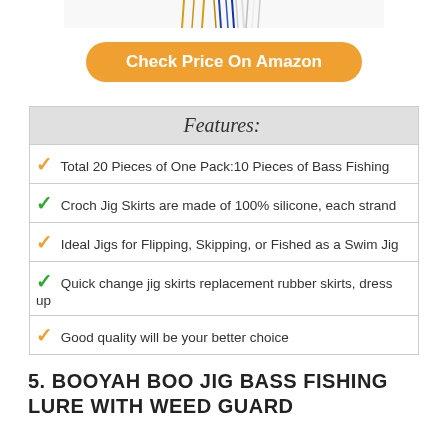[Figure (photo): Top portion of fishing jig skirt lures (multicolor strands) cropped at top of page]
Check Price On Amazon
| Features: |
| --- |
| ✓ Total 20 Pieces of One Pack:10 Pieces of Bass Fishing |
| ✓ Croch Jig Skirts are made of 100% silicone, each strand |
| ✓ Ideal Jigs for Flipping, Skipping, or Fished as a Swim Jig |
| ✓ Quick change jig skirts replacement rubber skirts, dress up |
| ✓ Good quality will be your better choice |
5. BOOYAH BOO JIG BASS FISHING LURE WITH WEED GUARD
[Figure (photo): Booyah Boo Jig bass fishing lure with weed guard — black and blue silicone skirt jig]